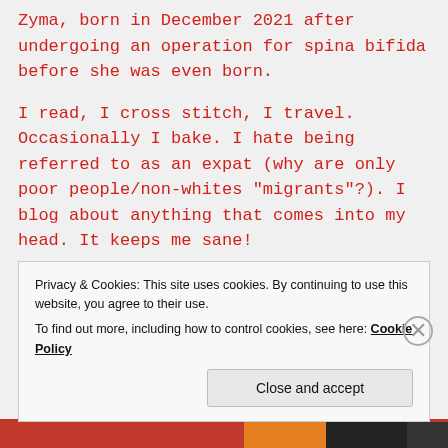Zyma, born in December 2021 after undergoing an operation for spina bifida before she was even born.
I read, I cross stitch, I travel. Occasionally I bake. I hate being referred to as an expat (why are only poor people/non-whites "migrants"?). I blog about anything that comes into my head. It keeps me sane!
confuzzledomblog@gmail.com
Privacy & Cookies: This site uses cookies. By continuing to use this website, you agree to their use.
To find out more, including how to control cookies, see here: Cookie Policy
Close and accept